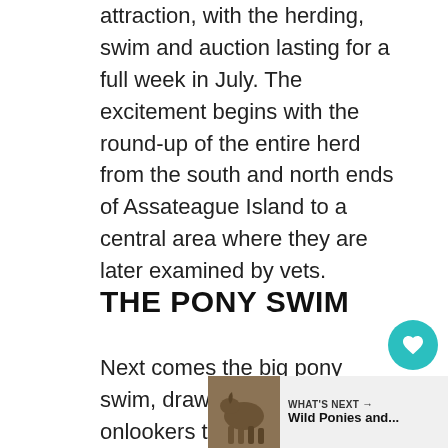attraction, with the herding, swim and auction lasting for a full week in July. The excitement begins with the round-up of the entire herd from the south and north ends of Assateague Island to a central area where they are later examined by vets.
THE PONY SWIM
Next comes the big pony swim, drawing hundreds of onlookers to Chincoteague's shores as more than 150 ponies and foals step from Assateague Island into the sea.